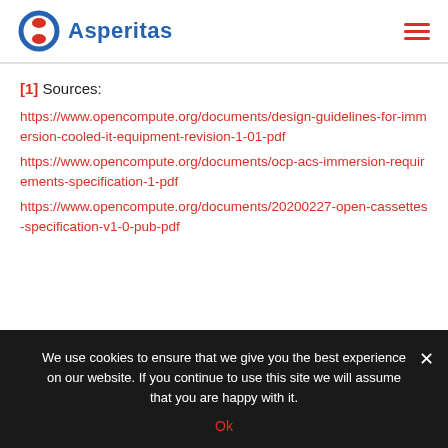Asperitas
[1] Sources:
https://www.opencompute.org/documents/design-guidelines-for-immersion-cooled-it-equipment-revision-1-01-pdf
https://www.opencompute.org/documents/ocp-acs-immersion-requirements-specification-1-pdf
https://www.opencompute.org/documents/20200227-open-cassettes-specification-v1-0-pub-pdf
We use cookies to ensure that we give you the best experience on our website. If you continue to use this site we will assume that you are happy with it.
Ok